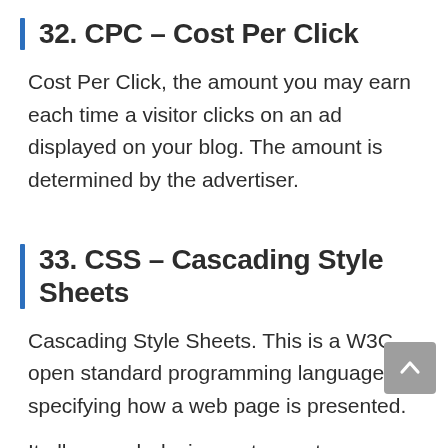32. CPC – Cost Per Click
Cost Per Click, the amount you may earn each time a visitor clicks on an ad displayed on your blog. The amount is determined by the advertiser.
33. CSS – Cascading Style Sheets
Cascading Style Sheets. This is a W3C open standard programming language for specifying how a web page is presented.
It allows web designers to create formatting